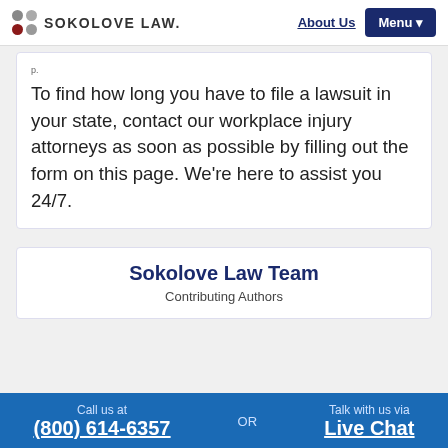SOKOLOVE LAW — About Us | Menu
To find how long you have to file a lawsuit in your state, contact our workplace injury attorneys as soon as possible by filling out the form on this page. We're here to assist you 24/7.
Sokolove Law Team
Contributing Authors
Call us at (800) 614-6357 OR Talk with us via Live Chat